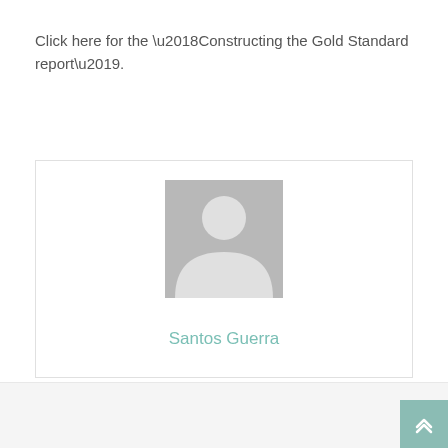Click here for the ‘Constructing the Gold Standard report’.
[Figure (illustration): Profile card with a grey placeholder avatar silhouette (person icon) centered in a white rounded box, with the name 'Santos Guerra' displayed below in teal/green color.]